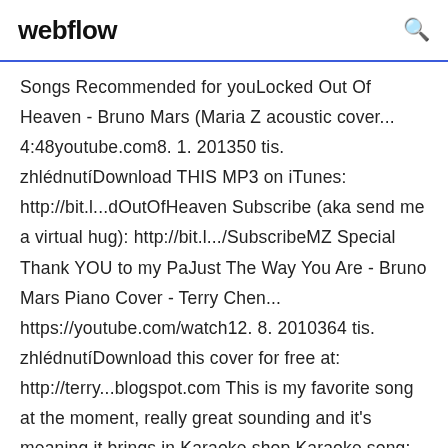webflow
Songs Recommended for youLocked Out Of Heaven - Bruno Mars (Maria Z acoustic cover... 4:48youtube.com8. 1. 201350 tis. zhlédnutíDownload THIS MP3 on iTunes: http://bit.l...dOutOfHeaven Subscribe (aka send me a virtual hug): http://bit.l.../SubscribeMZ Special Thank YOU to my PaJust The Way You Are - Bruno Mars Piano Cover - Terry Chen... https://youtube.com/watch12. 8. 2010364 tis. zhlédnutíDownload this cover for free at: http://terry...blogspot.com This is my favorite song at the moment, really great sounding and it's meaning it brings in Karaoke shop Karaoke song: Bruno Mars - Marry